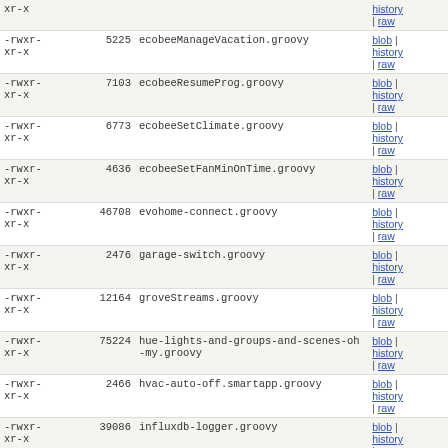| permissions | size | filename | links |
| --- | --- | --- | --- |
| -rwxr-xr-x |  |  | history | raw |
| -rwxr-xr-x | 5225 | ecobeeManageVacation.groovy | blob | history | raw |
| -rwxr-xr-x | 7103 | ecobeeResumeProg.groovy | blob | history | raw |
| -rwxr-xr-x | 6773 | ecobeeSetClimate.groovy | blob | history | raw |
| -rwxr-xr-x | 4636 | ecobeeSetFanMinOnTime.groovy | blob | history | raw |
| -rwxr-xr-x | 46708 | evohome-connect.groovy | blob | history | raw |
| -rwxr-xr-x | 2476 | garage-switch.groovy | blob | history | raw |
| -rwxr-xr-x | 12164 | groveStreams.groovy | blob | history | raw |
| -rwxr-xr-x | 75224 | hue-lights-and-groups-and-scenes-oh-my.groovy | blob | history | raw |
| -rwxr-xr-x | 2466 | hvac-auto-off.smartapp.groovy | blob | history | raw |
| -rwxr-xr-x | 39086 | influxdb-logger.groovy | blob | history | raw |
| -rwxr-xr-x | 12601 | initial-state-event-sender.groovy | blob | history | raw |
| -rwxr-xr-x | 13455 | initialstate-smart-app-... | blob | history |